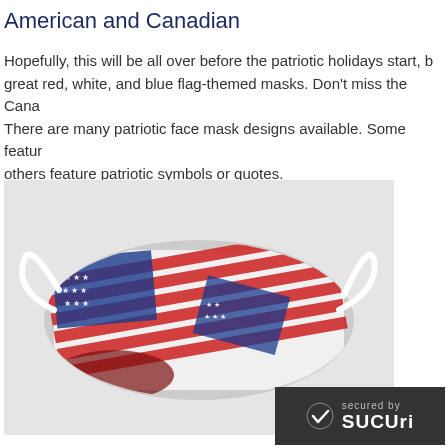American and Canadian
Hopefully, this will be all over before the patriotic holidays start, but great red, white, and blue flag-themed masks. Don't miss the Cana... There are many patriotic face mask designs available. Some featur... others feature patriotic symbols or quotes.
[Figure (photo): A patriotic face mask covered with American flag patterns featuring red and white stripes and blue fields with white stars, with white elastic ear loops, displayed on a light gray background.]